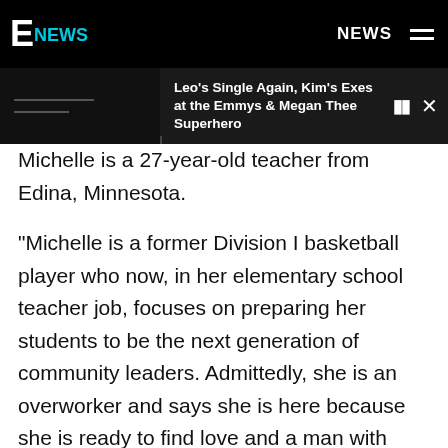E! NEWS | NEWS
Leo's Single Again, Kim's Exes at the Emmys & Megan Thee Superhero
Michelle is a 27-year-old teacher from Edina, Minnesota.
"Michelle is a former Division I basketball player who now, in her elementary school teacher job, focuses on preparing her students to be the next generation of community leaders. Admittedly, she is an overworker and says she is here because she is ready to find love and a man with whom to start a family. As a partner, she describes herself as loyal, compassionate and supportive, and shows love through acts of service. Her dream man is confident